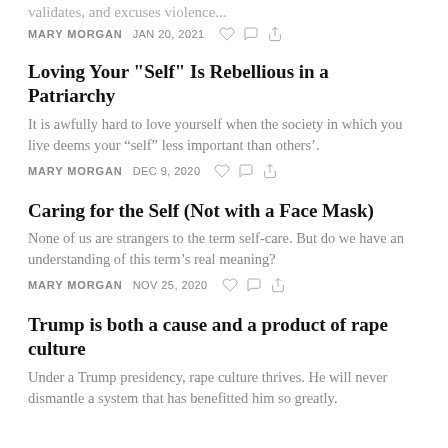validates, and excuses violence...
MARY MORGAN   JAN 20, 2021
Loving Your "Self" Is Rebellious in a Patriarchy
It is awfully hard to love yourself when the society in which you live deems your “self” less important than others’.
MARY MORGAN   DEC 9, 2020
Caring for the Self (Not with a Face Mask)
None of us are strangers to the term self-care. But do we have an understanding of this term’s real meaning?
MARY MORGAN   NOV 25, 2020
Trump is both a cause and a product of rape culture
Under a Trump presidency, rape culture thrives. He will never dismantle a system that has benefitted him so greatly.